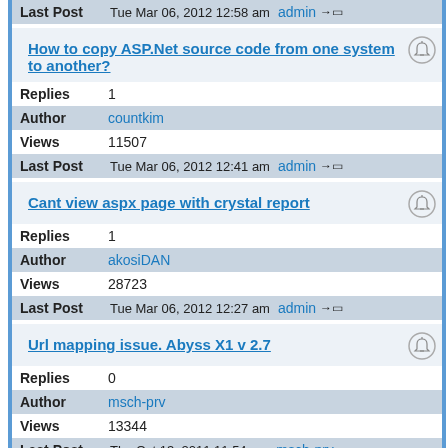Last Post   Tue Mar 06, 2012 12:58 am   admin →
How to copy ASP.Net source code from one system to another?
Replies   1
Author   countkim
Views   11507
Last Post   Tue Mar 06, 2012 12:41 am   admin →
Cant view aspx page with crystal report
Replies   1
Author   akosiDAN
Views   28723
Last Post   Tue Mar 06, 2012 12:27 am   admin →
Url mapping issue. Abyss X1 v 2.7
Replies   0
Author   msch-prv
Views   13344
Last Post   Thu Oct 13, 2011 11:54 pm   msch-prv →
How do I set up virtual directories?